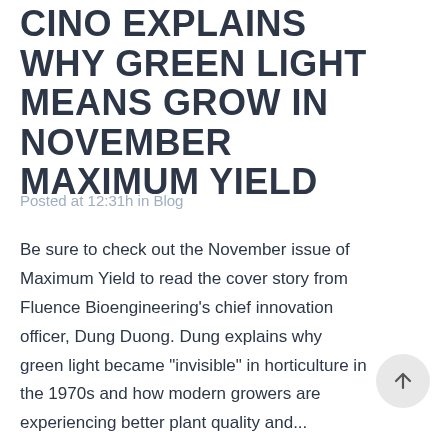CINO EXPLAINS WHY GREEN LIGHT MEANS GROW IN NOVEMBER MAXIMUM YIELD
Posted at 12:31h in Blog
Be sure to check out the November issue of Maximum Yield to read the cover story from Fluence Bioengineering's chief innovation officer, Dung Duong. Dung explains why green light became "invisible" in horticulture in the 1970s and how modern growers are experiencing better plant quality and...